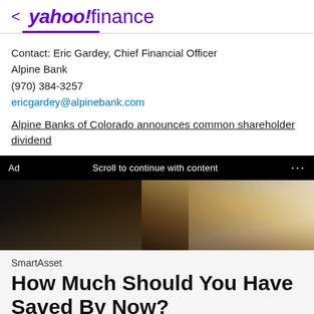< yahoo!finance
Contact: Eric Gardey, Chief Financial Officer
Alpine Bank
(970) 384-3257
ericgardey@alpinebank.com
Alpine Banks of Colorado announces common shareholder dividend
Ad   Scroll to continue with content   ...
[Figure (photo): Partial photo of a blonde-haired woman, cropped to show hair and partial face/shoulder, dark background]
SmartAsset
How Much Should You Have Saved By Now?